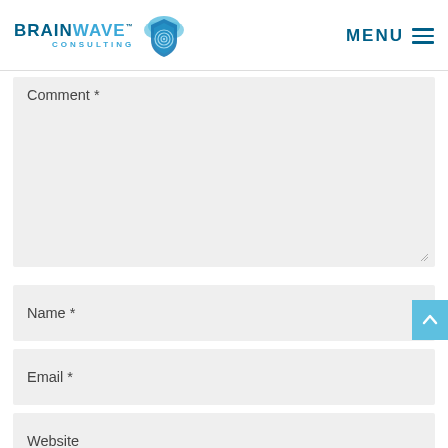[Figure (logo): BrainWave Consulting logo with shield and cloud icon in blue]
Comment *
Name *
Email *
Website